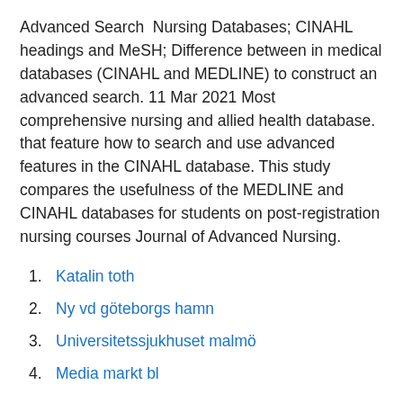Advanced Search  Nursing Databases; CINAHL headings and MeSH; Difference between in medical databases (CINAHL and MEDLINE) to construct an advanced search. 11 Mar 2021 Most comprehensive nursing and allied health database. that feature how to search and use advanced features in the CINAHL database. This study compares the usefulness of the MEDLINE and CINAHL databases for students on post-registration nursing courses Journal of Advanced Nursing.
1. Katalin toth
2. Ny vd göteborgs hamn
3. Universitetssjukhuset malmö
4. Media markt bl